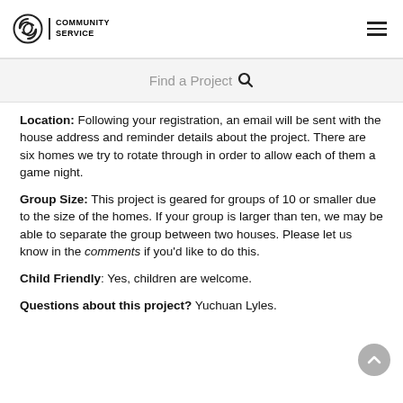COMMUNITY SERVICE
Find a Project
Location:  Following your registration, an email will be sent with the house address and reminder details about the project.  There are six homes we try to rotate through in order to allow each of them a game night.
Group Size: This project is geared for groups of 10 or smaller due to the size of the homes.  If your group is larger than ten, we may be able to separate the group between two houses.  Please let us know in the comments if you'd like to do this.
Child Friendly:  Yes, children are welcome.
Questions about this project?  Yuchuan Lyles.